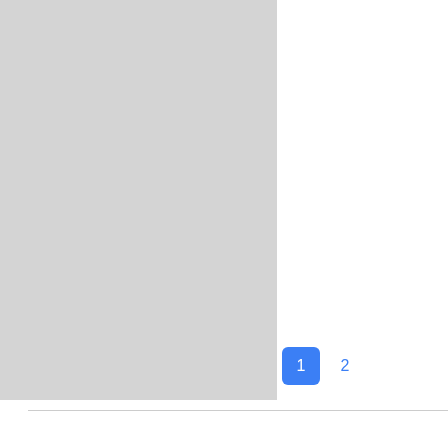[Figure (screenshot): Screenshot of a webpage showing a gray content area on the left and a white panel on the right with the site title 'PornForce.com - Miradavi' partially visible, along with pagination controls showing page 1 (active, blue button) and page 2 below the content area.]
PornForce.com - Miradavi
1  2